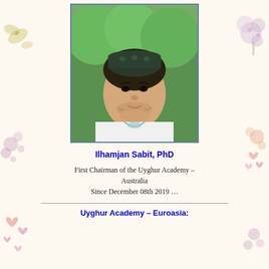[Figure (photo): Portrait photo of Ilhamjan Sabit, a man wearing a traditional green embroidered cap and white shirt with decorative collar, photographed outdoors with green trees in background]
Ilhamjan Sabit, PhD
First Chairman of the Uyghur Academy – Australia
Since December 08th 2019 …
Uyghur Academy – Euroasia: